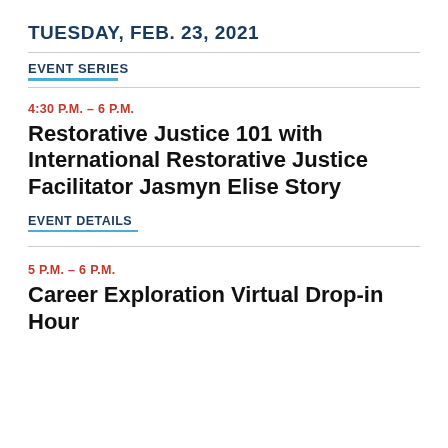TUESDAY, FEB. 23, 2021
EVENT SERIES
4:30 P.M. – 6 P.M.
Restorative Justice 101 with International Restorative Justice Facilitator Jasmyn Elise Story
EVENT DETAILS
5 P.M. – 6 P.M.
Career Exploration Virtual Drop-in Hour